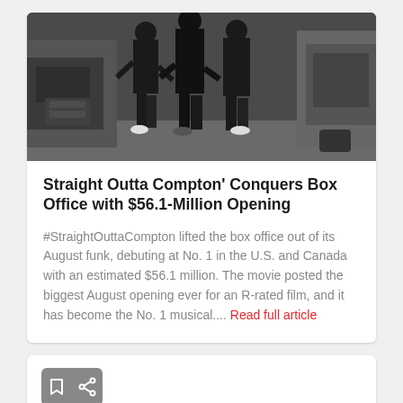[Figure (photo): Movie still from Straight Outta Compton showing people walking in dark clothing with trucks in background]
Straight Outta Compton' Conquers Box Office with $56.1-Million Opening
#StraightOuttaCompton lifted the box office out of its August funk, debuting at No. 1 in the U.S. and Canada with an estimated $56.1 million. The movie posted the biggest August opening ever for an R-rated film, and it has become the No. 1 musical.... Read full article
[Figure (photo): Bottom card showing action icons (bookmark and share) and partial image of a person, appears to be a courtroom or formal setting with dark red/brown background]